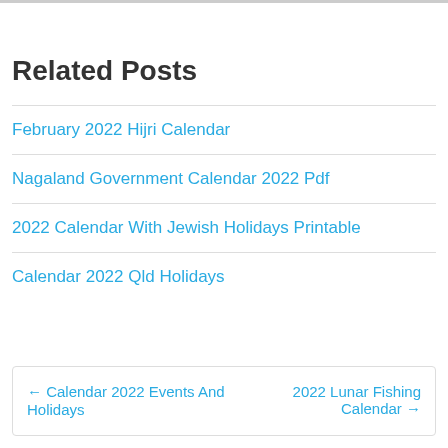Related Posts
February 2022 Hijri Calendar
Nagaland Government Calendar 2022 Pdf
2022 Calendar With Jewish Holidays Printable
Calendar 2022 Qld Holidays
← Calendar 2022 Events And Holidays
2022 Lunar Fishing Calendar →